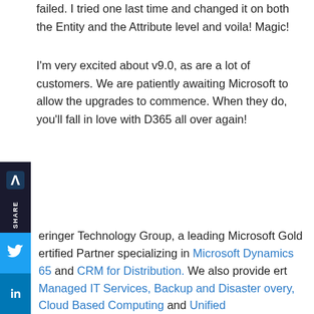failed. I tried one last time and changed it on both the Entity and the Attribute level and voila! Magic!
I'm very excited about v9.0, as are a lot of customers. We are patiently awaiting Microsoft to allow the upgrades to commence. When they do, you'll fall in love with D365 all over again!
eringer Technology Group, a leading Microsoft Gold ertified Partner specializing in Microsoft Dynamics 65 and CRM for Distribution. We also provide ert Managed IT Services, Backup and Disaster overy, Cloud Based Computing and Unified